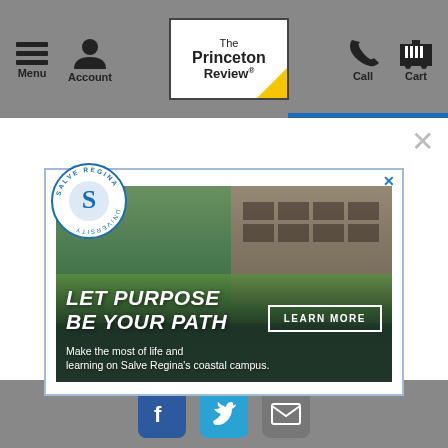The Princeton Review - Menu, Account, Call, Cart navigation
[Figure (screenshot): Modal popup advertisement for Salve Regina University with campus photo showing two students walking outdoors. Text reads: LET PURPOSE BE YOUR PATH. LEARN MORE. Make the most of life and learning on Salve Regina's coastal campus.]
Social icons: Facebook, Twitter, Email